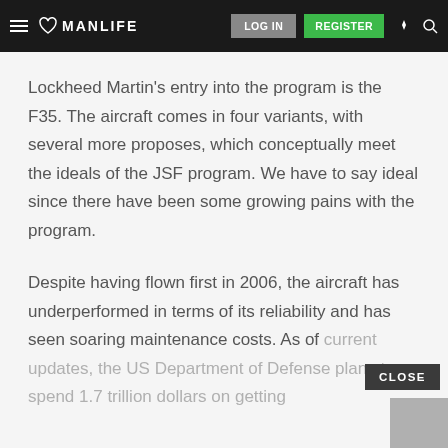MANLIFE | LOG IN | REGISTER
Lockheed Martin’s entry into the program is the F35. The aircraft comes in four variants, with several more proposes, which conceptually meet the ideals of the JSF program. We have to say ideal since there have been some growing pains with the program.
Despite having flown first in 2006, the aircraft has underperformed in terms of its reliability and has seen soaring maintenance costs. As of current updates, the US Department of Defense plans to spend 1.7 trillion dollars on getting